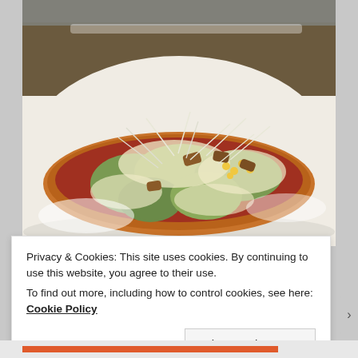[Figure (photo): A flatbread or pizza topped with green pesto, melted cheese, corn, microgreens/sprouts, and what appears to be fried or breaded pieces, served on a white rectangular plate.]
Privacy & Cookies: This site uses cookies. By continuing to use this website, you agree to their use.
To find out more, including how to control cookies, see here: Cookie Policy